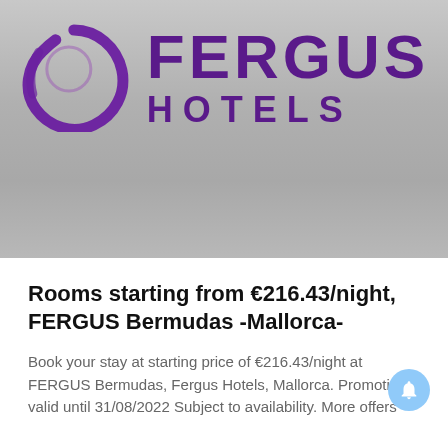[Figure (logo): Fergus Hotels logo: purple circular brushstroke icon on left, 'FERGUS' in large bold purple text above 'HOTELS' in spaced purple text on right. Background is a light grey gradient.]
Rooms starting from €216.43/night, FERGUS Bermudas -Mallorca-
Book your stay at starting price of €216.43/night at FERGUS Bermudas, Fergus Hotels, Mallorca. Promotion valid until 31/08/2022 Subject to availability. More offers